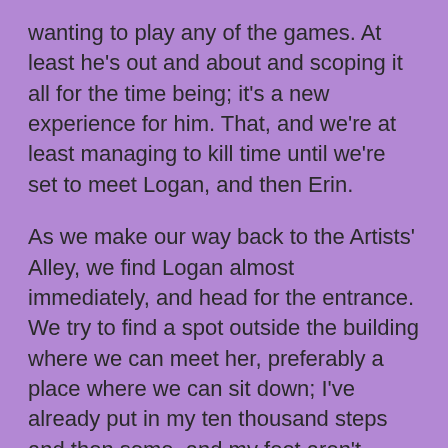wanting to play any of the games. At least he's out and about and scoping it all for the time being; it's a new experience for him. That, and we're at least managing to kill time until we're set to meet Logan, and then Erin.
As we make our way back to the Artists' Alley, we find Logan almost immediately, and head for the entrance. We try to find a spot outside the building where we can meet her, preferably a place where we can sit down; I've already put in my ten thousand steps and then some, and my feet aren't thrilled about it. We find a place, and I send a text detailing where exactly we are.
She responds almost immediately that she can see us (although for whatever reason, we can't see her; you'd think a girl on a bike on River Road would stick out more), but she has to cross the road to meet us. It's at